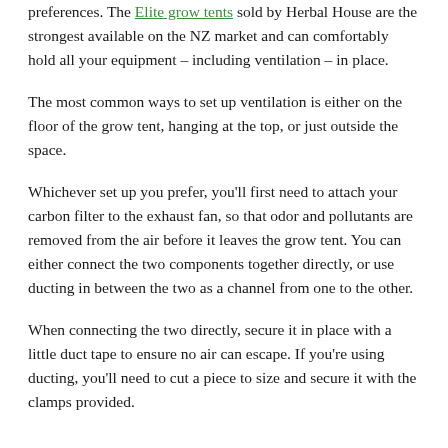preferences. The Elite grow tents sold by Herbal House are the strongest available on the NZ market and can comfortably hold all your equipment – including ventilation – in place.
The most common ways to set up ventilation is either on the floor of the grow tent, hanging at the top, or just outside the space.
Whichever set up you prefer, you'll first need to attach your carbon filter to the exhaust fan, so that odor and pollutants are removed from the air before it leaves the grow tent. You can either connect the two components together directly, or use ducting in between the two as a channel from one to the other.
When connecting the two directly, secure it in place with a little duct tape to ensure no air can escape. If you're using ducting, you'll need to cut a piece to size and secure it with the clamps provided.